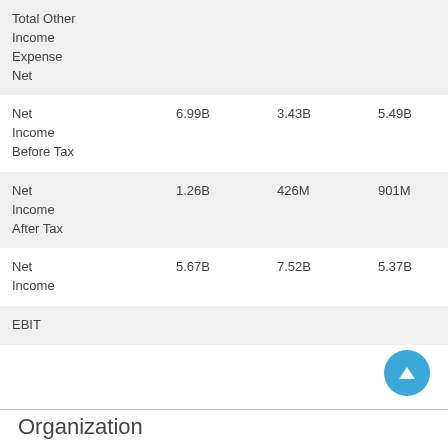|  |  |  |  |  |
| --- | --- | --- | --- | --- |
| Total Other Income Expense Net |  |  |  |  |
| Net Income Before Tax | 6.99B | 3.43B | 5.49B | 5.49B |
| Net Income After Tax | 1.26B | 426M | 901M | 928M |
| Net Income | 5.67B | 7.52B | 5.37B | 5.3B |
| EBIT |  |  |  |  |
Organization